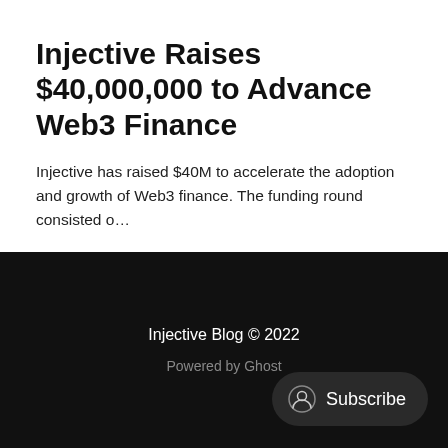Injective Raises $40,000,000 to Advance Web3 Finance
Injective has raised $40M to accelerate the adoption and growth of Web3 finance. The funding round consisted o…
Aug 15, 2022 · 3 min read
Injective Blog © 2022
Powered by Ghost